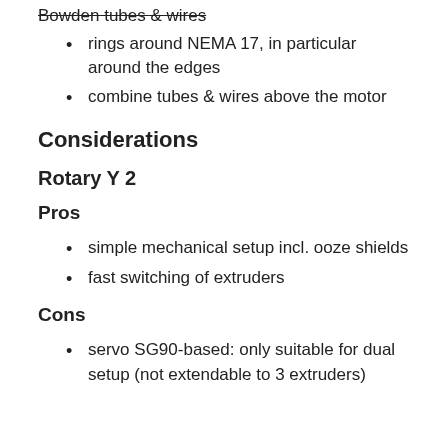Bowden tube guides, enabling smooth routing of Bowden tubes & wires (strikethrough)
rings around NEMA 17, in particular around the edges
combine tubes & wires above the motor
Considerations
Rotary Y 2
Pros
simple mechanical setup incl. ooze shields
fast switching of extruders
Cons
servo SG90-based: only suitable for dual setup (not extendable to 3 extruders)